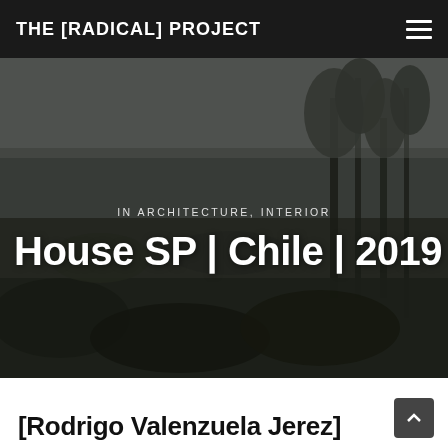THE [RADICAL] PROJECT
[Figure (photo): Outdoor landscape photo showing a hillside with trees and shrubs, dark and moody atmosphere, overlaid with text labels for a blog/architecture website hero section]
IN ARCHITECTURE, INTERIOR
House SP | Chile | 2019
[Rodrigo Valenzuela Jerez]